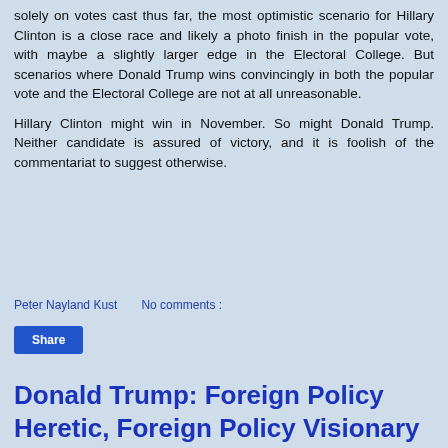solely on votes cast thus far, the most optimistic scenario for Hillary Clinton is a close race and likely a photo finish in the popular vote, with maybe a slightly larger edge in the Electoral College. But scenarios where Donald Trump wins convincingly in both the popular vote and the Electoral College are not at all unreasonable.
Hillary Clinton might win in November. So might Donald Trump. Neither candidate is assured of victory, and it is foolish of the commentariat to suggest otherwise.
Peter Nayland Kust    No comments :
Donald Trump: Foreign Policy Heretic, Foreign Policy Visionary